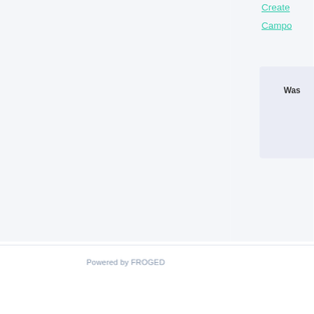Create
Campo
Was
Powered by FROGED